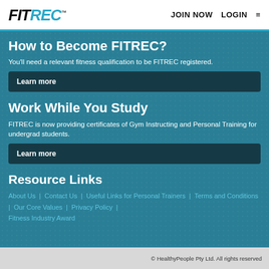FITREC™ | JOIN NOW | LOGIN
How to Become FITREC?
You'll need a relevant fitness qualification to be FITREC registered.
Learn more
Work While You Study
FITREC is now providing certificates of Gym Instructing and Personal Training for undergrad students.
Learn more
Resource Links
About Us | Contact Us | Useful Links for Personal Trainers | Terms and Conditions | Our Core Values | Privacy Policy | Fitness Industry Award
© HealthyPeople Pty Ltd. All rights reserved